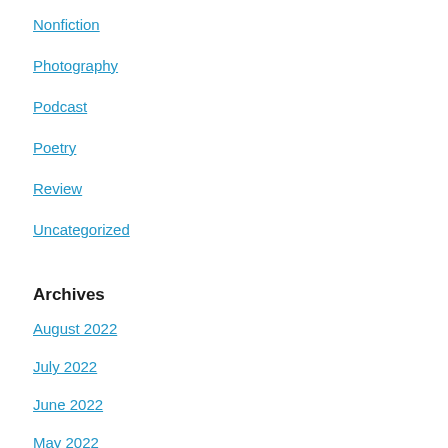Nonfiction
Photography
Podcast
Poetry
Review
Uncategorized
Archives
August 2022
July 2022
June 2022
May 2022
April 2022